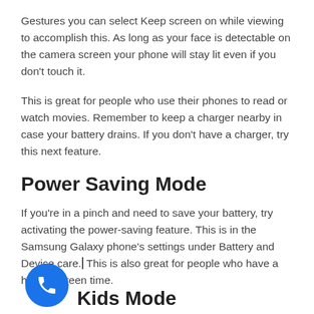Gestures you can select Keep screen on while viewing to accomplish this. As long as your face is detectable on the camera screen your phone will stay lit even if you don't touch it.
This is great for people who use their phones to read or watch movies. Remember to keep a charger nearby in case your battery drains. If you don't have a charger, try this next feature.
Power Saving Mode
If you're in a pinch and need to save your battery, try activating the power-saving feature. This is in the Samsung Galaxy phone's settings under Battery and Device care. This is also great for people who have a higher screen time.
Kids Mode